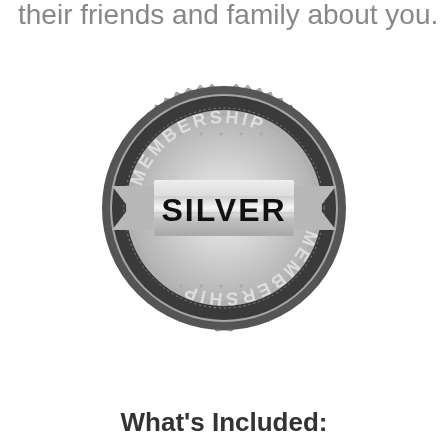their friends and family about you.
[Figure (illustration): Silver Membership badge/seal - a circular silver embossed medallion with serrated edges, showing 'MEMBERSHIP' text arcing across the top and bottom (bottom text mirrored/upside-down), with a silver ribbon banner across the center reading 'SILVER' in bold black text.]
What's Included: